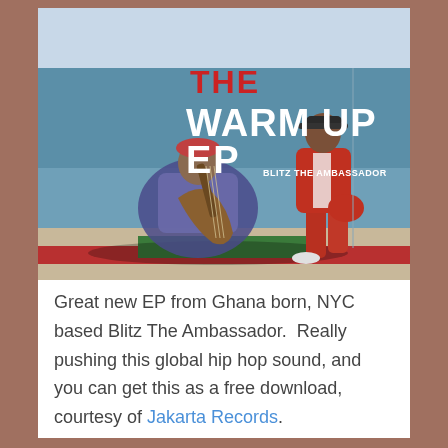[Figure (photo): Album cover for 'The Warm Up EP' by Blitz The Ambassador. Shows a street musician seated playing a traditional string instrument and a man in a red suit standing against a blue painted wall. Red text reads 'THE WARM UP EP' with 'BLITZ THE AMBASSADOR' in white.]
Great new EP from Ghana born, NYC based Blitz The Ambassador.  Really pushing this global hip hop sound, and you can get this as a free download, courtesy of Jakarta Records.